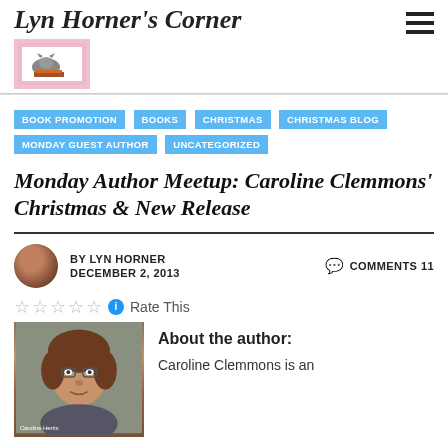Lyn Horner's Corner
[Figure (photo): Blog logo with cat sitting on books, pink border]
BOOK PROMOTION
BOOKS
CHRISTMAS
CHRISTMAS BLOG
MONDAY GUEST AUTHOR
UNCATEGORIZED
Monday Author Meetup: Caroline Clemmons' Christmas & New Release
BY LYN HORNER
DECEMBER 2, 2013
COMMENTS 11
Rate This
[Figure (photo): Photo of Caroline Clemmons, a woman with curly brown hair and glasses]
About the author:
Caroline Clemmons is an